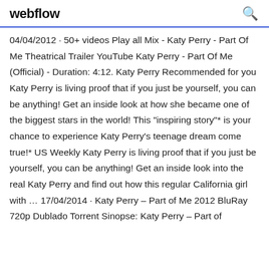webflow
04/04/2012 · 50+ videos Play all Mix - Katy Perry - Part Of Me Theatrical Trailer YouTube Katy Perry - Part Of Me (Official) - Duration: 4:12. Katy Perry Recommended for you Katy Perry is living proof that if you just be yourself, you can be anything! Get an inside look at how she became one of the biggest stars in the world! This "inspiring story"* is your chance to experience Katy Perry's teenage dream come true!* US Weekly Katy Perry is living proof that if you just be yourself, you can be anything! Get an inside look into the real Katy Perry and find out how this regular California girl with … 17/04/2014 · Katy Perry – Part of Me 2012 BluRay 720p Dublado Torrent Sinopse: Katy Perry – Part of